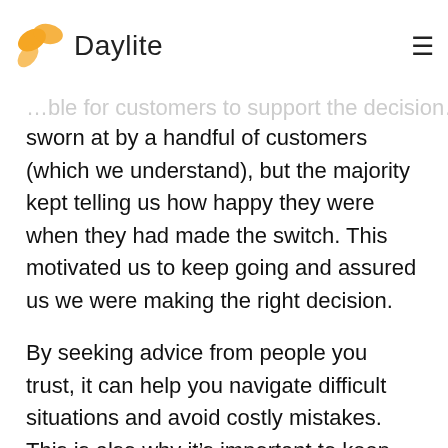Daylite
sworn at by a handful of customers (which we understand), but the majority kept telling us how happy they were when they had made the switch. This motivated us to keep going and assured us we were making the right decision.
By seeking advice from people you trust, it can help you navigate difficult situations and avoid costly mistakes. This is also why it’s important to keep close communication with customers. Had we only listened to a handful of angry customers about our decision to switch to a recurring revenue model instead of keeping tabs on the majority of customers, we may have been persuaded to go with